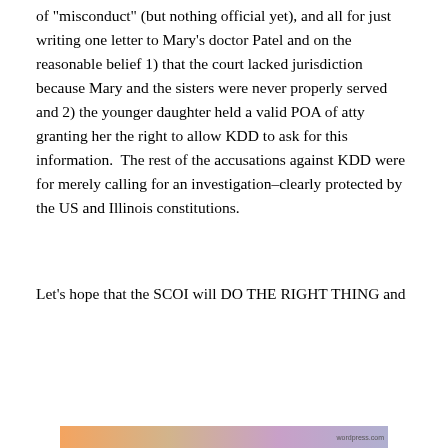of "misconduct" (but nothing official yet), and all for just writing one letter to Mary's doctor Patel and on the reasonable belief 1) that the court lacked jurisdiction because Mary and the sisters were never properly served and 2) the younger daughter held a valid POA of atty granting her the right to allow KDD to ask for this information.  The rest of the accusations against KDD were for merely calling for an investigation–clearly protected by the US and Illinois constitutions.
Let's hope that the SCOI will DO THE RIGHT THING and
[Figure (screenshot): Cookie consent banner with text: 'Privacy & Cookies: This site uses cookies. By continuing to use this website, you agree to their use. To find out more, including how to control cookies, see here: Cookie Policy'. Has a close (X) button on the right and a 'Close and accept' button at the bottom right.]